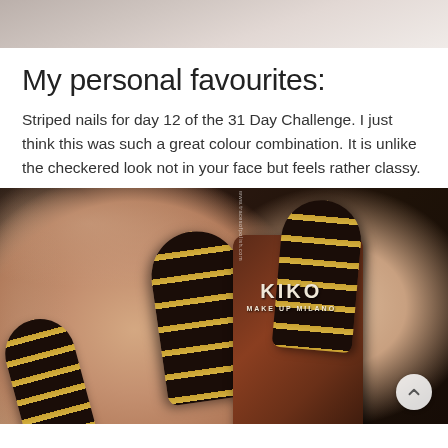[Figure (photo): Top portion of a nail art photo showing fingers with striped nails, cropped at the top of the page]
My personal favourites:
Striped nails for day 12 of the 31 Day Challenge. I just think this was such a great colour combination. It is unlike the checkered look not in your face but feels rather classy.
[Figure (photo): Close-up photo of hands with dark brown and gold glitter striped nail art, holding a KIKO Make Up Milano nail polish bottle]